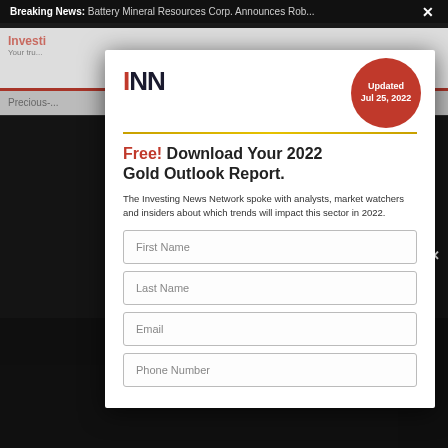Breaking News: Battery Mineral Resources Corp. Announces Rob...
[Figure (screenshot): INN (Investing News Network) website background with navigation bar showing 'Precious-...' subnav and partially visible content, overlaid with dark modal background]
INN
Updated Jul 25, 2022
Free! Download Your 2022 Gold Outlook Report.
The Investing News Network spoke with analysts, market watchers and insiders about which trends will impact this sector in 2022.
First Name
Last Name
Email
Phone Number
Investi... third-party... cookie p... OR comp... you agree to our use of cookies.